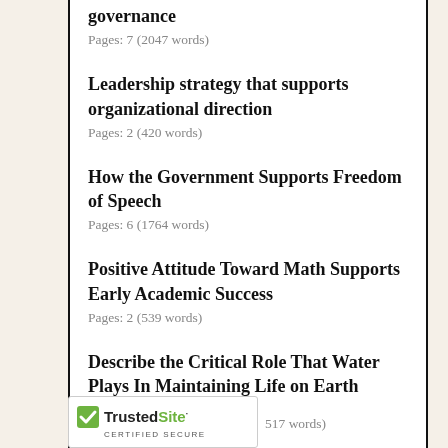governance
Pages: 7 (2047 words)
Leadership strategy that supports organizational direction
Pages: 2 (420 words)
How the Government Supports Freedom of Speech
Pages: 6 (1764 words)
Positive Attitude Toward Math Supports Early Academic Success
Pages: 2 (539 words)
Describe the Critical Role That Water Plays In Maintaining Life on Earth
Pages: 3 (812 words)
Compare and Contrast a Life Raft, an Island, and
Pages: ... 517 words)